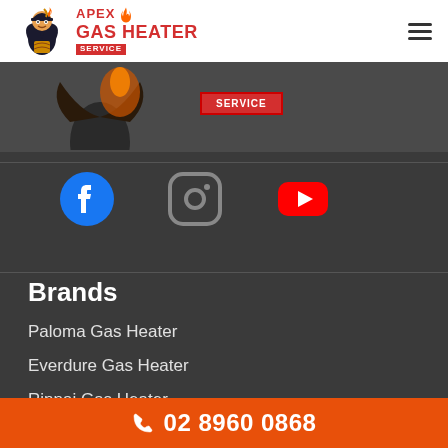[Figure (logo): Apex Gas Heater Service logo with mascot character and red text]
[Figure (illustration): Mascot character in hero strip with 'SERVICE' badge]
[Figure (infographic): Social media icons row: Facebook (blue circle), Instagram (grey rounded square), YouTube (red rounded square)]
Brands
Paloma Gas Heater
Everdure Gas Heater
Rinnai Gas Heater
Vulcan Gas Heater
02 8960 0868